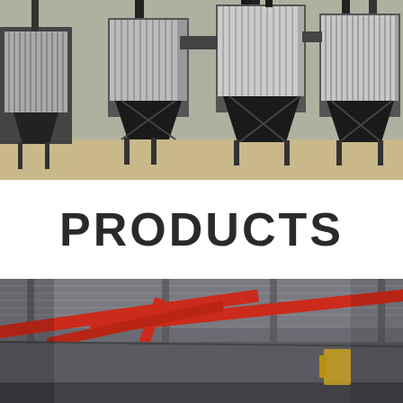[Figure (photo): Industrial dust collector units with corrugated metal panels and black hopper bases, multiple large cylindrical filter units on steel frames in an outdoor industrial facility]
PRODUCTS
[Figure (photo): Interior of an industrial warehouse or factory with red overhead crane beams, steel roof structure, and yellow equipment visible in the background]